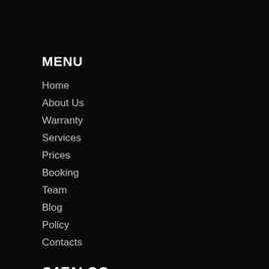MENU
Home
About Us
Warranty
Services
Prices
Booking
Team
Blog
Policy
Contacts
CATALOG
Tyres and wheels
Engine parts